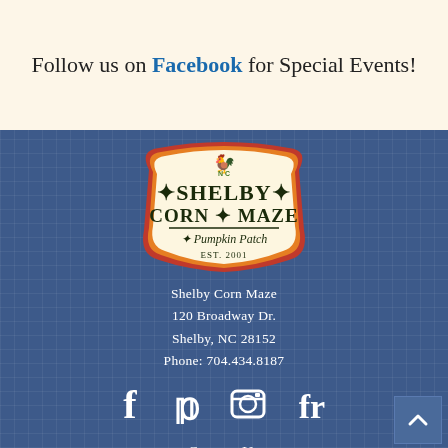Follow us on Facebook for Special Events!
[Figure (logo): Shelby Corn Maze and Pumpkin Patch logo with rooster, EST. 2001, decorative border in cream, green, orange and red colors]
Shelby Corn Maze
120 Broadway Dr.
Shelby, NC 28152
Phone: 704.434.8187
[Figure (other): Social media icons: Facebook (f), Pinterest (p), Instagram camera icon, Foodspotting (fr)]
Contact Us